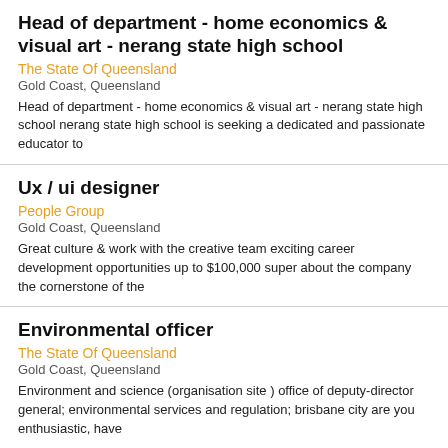Head of department - home economics & visual art - nerang state high school
The State Of Queensland
Gold Coast, Queensland
Head of department - home economics & visual art - nerang state high school nerang state high school is seeking a dedicated and passionate educator to
Ux / ui designer
People Group
Gold Coast, Queensland
Great culture & work with the creative team exciting career development opportunities up to $100,000 super about the company the cornerstone of the
Environmental officer
The State Of Queensland
Gold Coast, Queensland
Environment and science (organisation site ) office of deputy-director general; environmental services and regulation; brisbane city are you enthusiastic, have
Vp people experience - operations
Toa Global
Southport, Gold Coast
Management - internal (human resources & recruitment) about the role